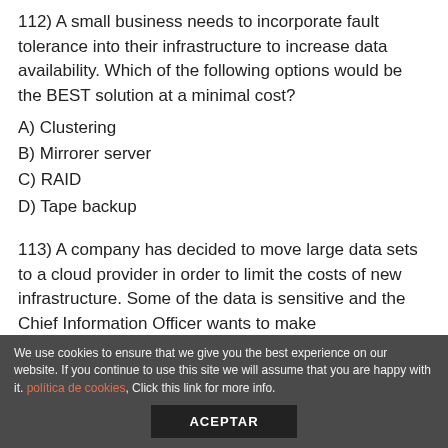112)  A small business needs to incorporate fault tolerance into their infrastructure to increase data availability. Which of the following options would be the BEST solution at a minimal cost?
A)  Clustering
B)  Mirrorer server
C)  RAID
D)  Tape backup
113)  A company has decided to move large data sets to a cloud provider in order to limit the costs of new infrastructure. Some of the data is sensitive and the Chief Information Officer wants to make
We use cookies to ensure that we give you the best experience on our website. If you continue to use this site we will assume that you are happy with it. política de cookies, Click this link for more info.